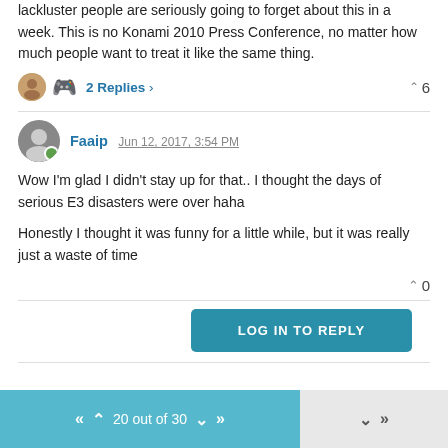lackluster people are seriously going to forget about this in a week. This is no Konami 2010 Press Conference, no matter how much people want to treat it like the same thing.
2 Replies >   ^ 6
Faaip Jun 12, 2017, 3:54 PM
Wow I'm glad I didn't stay up for that.. I thought the days of serious E3 disasters were over haha
Honestly I thought it was funny for a little while, but it was really just a waste of time
^ 0
LOG IN TO REPLY
20 out of 30